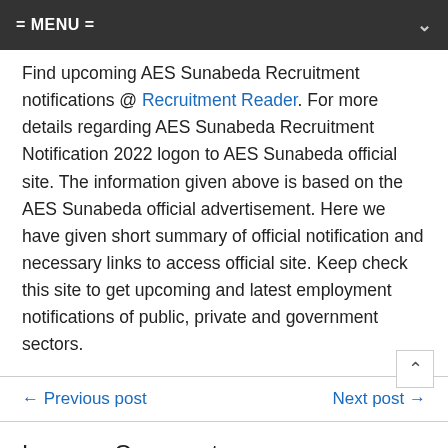= MENU =
Find upcoming AES Sunabeda Recruitment notifications @ Recruitment Reader. For more details regarding AES Sunabeda Recruitment Notification 2022 logon to AES Sunabeda official site. The information given above is based on the AES Sunabeda official advertisement. Here we have given short summary of official notification and necessary links to access official site. Keep check this site to get upcoming and latest employment notifications of public, private and government sectors.
← Previous post    Next post →
Leave a Comment
Your email address will not be published. Required fields